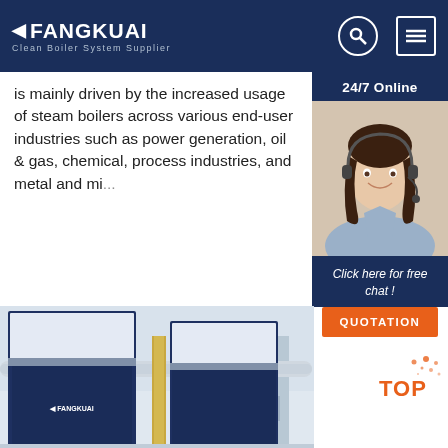FANGKUAI - Clean Boiler System Supplier
is mainly driven by the increased usage of steam boilers across various end-user industries such as power generation, oil & gas, chemical, process industries, and metal and mi...
Get Price
24/7 Online
[Figure (photo): Customer service agent with headset smiling]
Click here for free chat !
QUOTATION
[Figure (photo): Fangkuai branded boiler units installed in an industrial facility with pipes and columns]
TOP